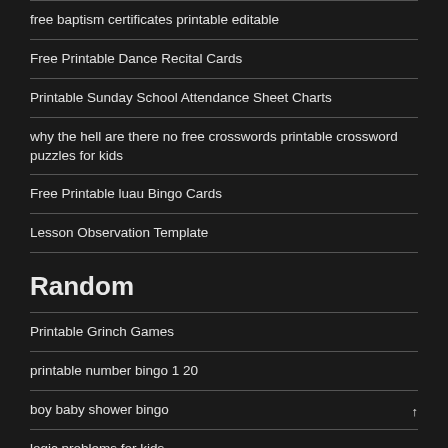free baptism certificates printable editable
Free Printable Dance Recital Cards
Printable Sunday School Attendance Sheet Charts
why the hell are there no free crosswords printable crossword puzzles for kids
Free Printable luau Bingo Cards
Lesson Observation Template
Random
Printable Grinch Games
printable number bingo 1 20
boy baby shower bingo
logic problems for kids